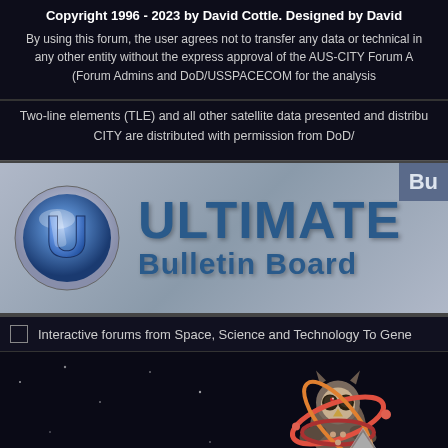Copyright 1996 - 2023 by David Cottle. Designed by David
By using this forum, the user agrees not to transfer any data or technical in any other entity without the express approval of the AUS-CITY Forum A (Forum Admins and DoD/USSPACECOM for the analysis
Two-line elements (TLE) and all other satellite data presented and distribu CITY are distributed with permission from DoD/
[Figure (logo): Ultimate Bulletin Board logo - circular blue U icon with ULTIMATE text and Bulletin Board subtext on grey gradient background]
Interactive forums from Space, Science and Technology To Gene
[Figure (logo): Atomicorp logo - stylized owl/bird with atomic orbit rings in red/coral colors, brown body, with ATOMICORP text below]
Liverpool solicitors Houston O